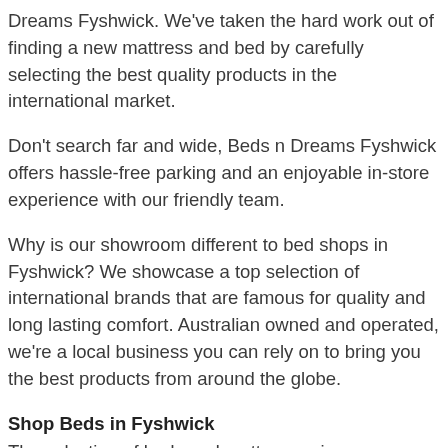Dreams Fyshwick. We've taken the hard work out of finding a new mattress and bed by carefully selecting the best quality products in the international market.
Don't search far and wide, Beds n Dreams Fyshwick offers hassle-free parking and an enjoyable in-store experience with our friendly team.
Why is our showroom different to bed shops in Fyshwick? We showcase a top selection of international brands that are famous for quality and long lasting comfort. Australian owned and operated, we're a local business you can rely on to bring you the best products from around the globe.
Shop Beds in Fyshwick
The selection of beds and mattresses in our Fyshwick Showroom is exclusive to Beds n Dreams. We offer a range of trusted brands including Hypnos- the bed of choice of Her Majesty Queen